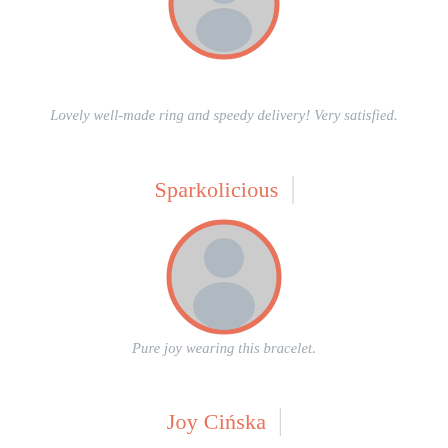[Figure (illustration): Circular avatar placeholder icon with salmon/coral border, showing a generic person silhouette in gray, partially cropped at top of page]
Lovely well-made ring and speedy delivery! Very satisfied.
Sparkolicious
[Figure (illustration): Circular avatar placeholder icon with salmon/coral border, showing a generic person silhouette in gray]
Pure joy wearing this bracelet.
Joy Cińska